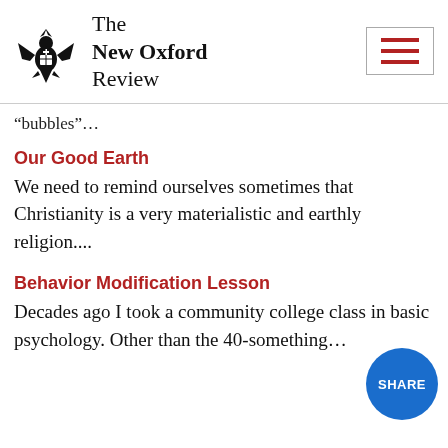The New Oxford Review
“bubbles”…
Our Good Earth
We need to remind ourselves sometimes that Christianity is a very materialistic and earthly religion....
Behavior Modification Lesson
Decades ago I took a community college class in basic psychology. Other than the 40-something…